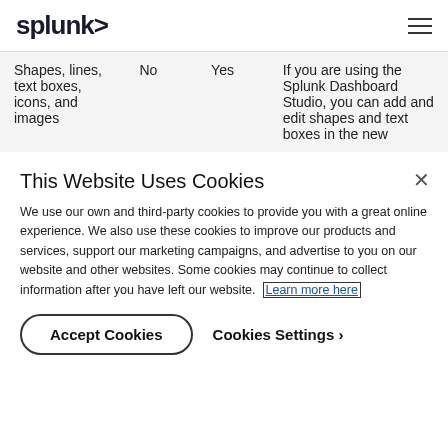splunk>
| Shapes, lines, text boxes, icons, and images | No | Yes | If you are using the Splunk Dashboard Studio, you can add and edit shapes and text boxes in the new |
This Website Uses Cookies
We use our own and third-party cookies to provide you with a great online experience. We also use these cookies to improve our products and services, support our marketing campaigns, and advertise to you on our website and other websites. Some cookies may continue to collect information after you have left our website. Learn more here
Accept Cookies   Cookies Settings ›